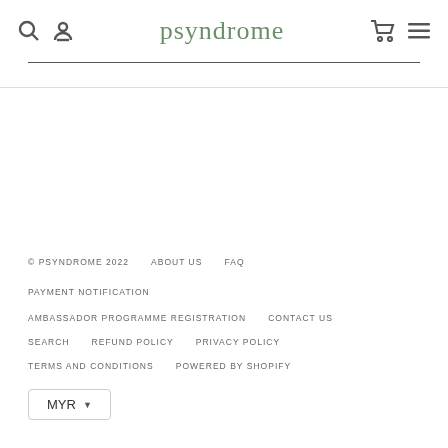psyndrome
© PSYNDROME 2022   ABOUT US   FAQ   PAYMENT NOTIFICATION   AMBASSADOR PROGRAMME REGISTRATION   CONTACT US   SEARCH   REFUND POLICY   PRIVACY POLICY   TERMS AND CONDITIONS   POWERED BY SHOPIFY
MYR ▼